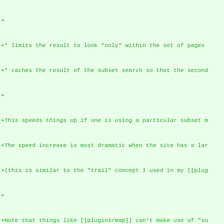+ 
+* limits the result to look *only* within the set of pages
+* caches the result of the subset search so that the second
+
+This speeds things up if one is using a particular subset m
+The speed increase is most dramatic when the site has a lar
+(this is similar to the "trail" concept I used in my [[plug
+
+Note that things like [[plugins/map]] can't make use of "su
+But [[plugins/contrib/report]] actually works without alter
+
+Unfortunately I haven't figured out how to do the dependenc
+
+--[[KathrynAndersen]]
+
+> > Cool!  I like the caching idea.  I'm not sure about the
+> > stuff in pages, but I appreciate this is a matter of ta
+> > supporting both. — [[Jon]]
diff --git a/doc/users/smcv/gallery/discussion.mdwn b/doc/users/smcv/gallery/discussion.mdwn
new file mode 100644 (file)
index 0000000..51ef27d
--- /dev/null
+++ b/doc/users/smcv/gallery/discussion.mdwn
@@ -0,0 +1,5 @@
+The examples linked to www.pseudorandom.co.uk do not exist.
+
+Does anyone have recent examples of any image album that wo
+
+-- [[JeremyReed]]